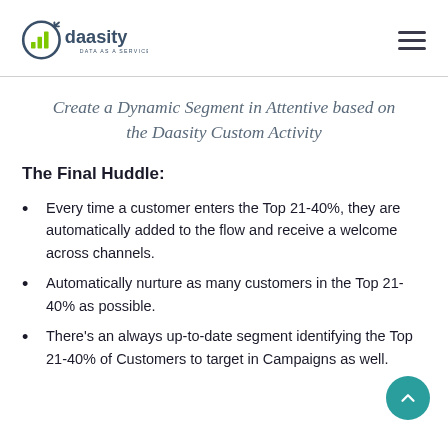[Figure (logo): Daasity logo with bar chart icon and text 'daasity DATA AS A SERVICE']
Create a Dynamic Segment in Attentive based on the Daasity Custom Activity
The Final Huddle:
Every time a customer enters the Top 21-40%, they are automatically added to the flow and receive a welcome across channels.
Automatically nurture as many customers in the Top 21-40% as possible.
There's an always up-to-date segment identifying the Top 21-40% of Customers to target in Campaigns as well.